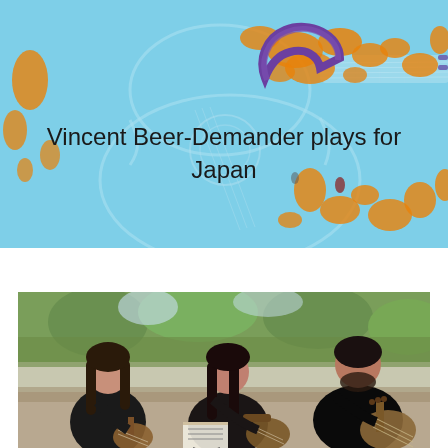[Figure (photo): Header image showing a guitar with psychedelic colorful overlay (orange and teal tones) forming a world-map-like pattern, with a purple horseshoe/magnet shape visible. Text 'Vincent Beer-Demander plays for Japan' is overlaid on the image.]
Vincent Beer-Demander plays for Japan
[Figure (photo): Photo of three musicians playing string instruments (mandolin/guitar-type instruments) outdoors. Two women on the left wearing dark clothing, one man on the right in a black jacket. Green foliage visible in the background.]